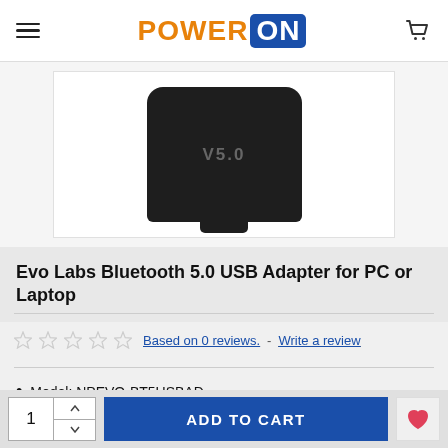POWER ON — Navigation header with hamburger menu and cart icon
[Figure (photo): Evo Labs Bluetooth 5.0 USB Adapter dongle product photo showing a small black USB device with 'V5.0' text on it]
Evo Labs Bluetooth 5.0 USB Adapter for PC or Laptop
Based on 0 reviews. - Write a review (star rating row, 0 out of 5 stars)
Model: NPEVO-BT5USBAD